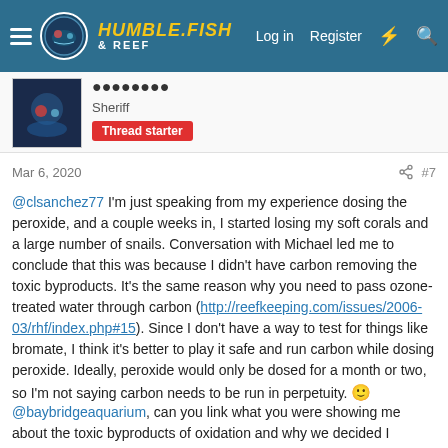Humble Fish & Reef — Navigation bar with Log in, Register links
Sheriff | Thread starter
Mar 6, 2020  #7
@clsanchez77 I'm just speaking from my experience dosing the peroxide, and a couple weeks in, I started losing my soft corals and a large number of snails. Conversation with Michael led me to conclude that this was because I didn't have carbon removing the toxic byproducts. It's the same reason why you need to pass ozone-treated water through carbon (http://reefkeeping.com/issues/2006-03/rhf/index.php#15). Since I don't have a way to test for things like bromate, I think it's better to play it safe and run carbon while dosing peroxide. Ideally, peroxide would only be dosed for a month or two, so I'm not saying carbon needs to be run in perpetuity. 🙂
@baybridgeaquarium, can you link what you were showing me about the toxic byproducts of oxidation and why we decided I